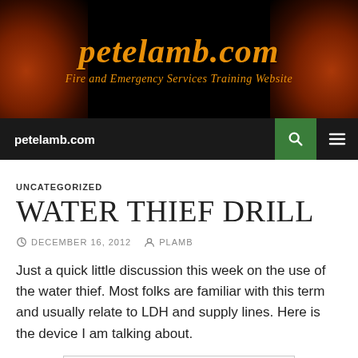petelamb.com
Fire and Emergency Services Training Website
petelamb.com
UNCATEGORIZED
WATER THIEF DRILL
DECEMBER 16, 2012   PLAMB
Just a quick little discussion this week on the use of the water thief. Most folks are familiar with this term and usually relate to LDH and supply lines. Here is the device I am talking about.
[Figure (photo): Broken/missing image placeholder for the water thief device]